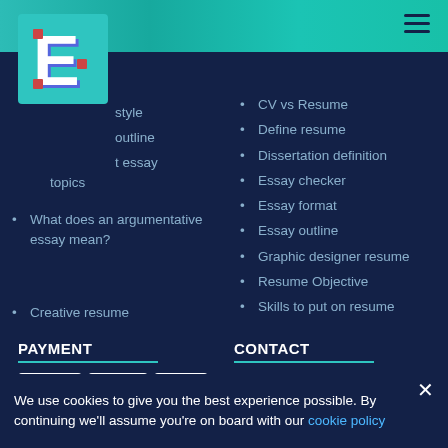[Figure (logo): 3D letter E logo on teal background]
style
outline
t essay topics
What does an argumentative essay mean?
Creative resume
CV vs Resume
Define resume
Dissertation definition
Essay checker
Essay format
Essay outline
Graphic designer resume
Resume Objective
Skills to put on resume
PAYMENT
[Figure (logo): PayPal payment logo]
[Figure (logo): Visa payment logo]
[Figure (logo): Mastercard payment logo]
CONTACT
358 Leverton Cove Road, Springfield, MA
We use cookies to give you the best experience possible. By continuing we'll assume you're on board with our cookie policy